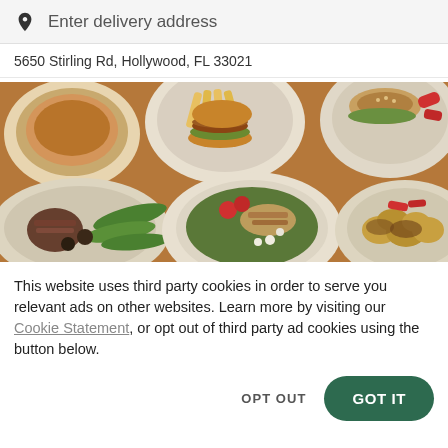Enter delivery address
5650 Stirling Rd, Hollywood, FL 33021
[Figure (photo): Overhead photo of various restaurant dishes including soup, burgers, a salad with chicken, pickles, and roasted potatoes on a brown table]
This website uses third party cookies in order to serve you relevant ads on other websites. Learn more by visiting our Cookie Statement, or opt out of third party ad cookies using the button below.
OPT OUT
GOT IT